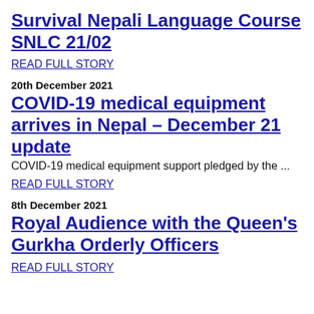Survival Nepali Language Course SNLC 21/02
READ FULL STORY
20th December 2021
COVID-19 medical equipment arrives in Nepal – December 21 update
COVID-19 medical equipment support pledged by the ...
READ FULL STORY
8th December 2021
Royal Audience with the Queen's Gurkha Orderly Officers
READ FULL STORY